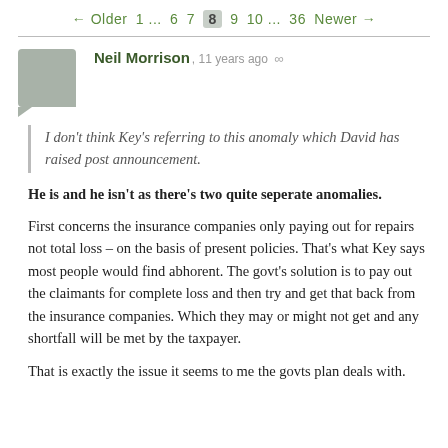← Older 1 ... 6 7 8 9 10 ... 36 Newer →
Neil Morrison, 11 years ago ∞
I don't think Key's referring to this anomaly which David has raised post announcement.
He is and he isn't as there's two quite seperate anomalies.
First concerns the insurance companies only paying out for repairs not total loss – on the basis of present policies. That's what Key says most people would find abhorent. The govt's solution is to pay out the claimants for complete loss and then try and get that back from the insurance companies. Which they may or might not get and any shortfall will be met by the taxpayer.
That is exactly the issue it seems to me the govts plan deals with.